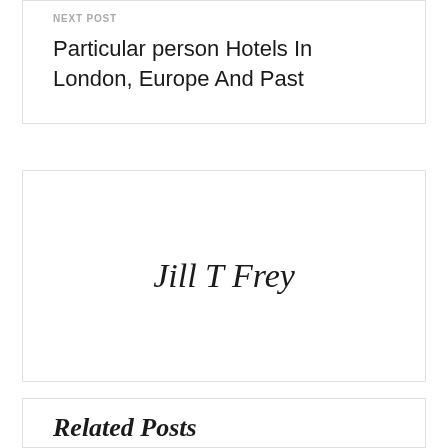NEXT POST
Particular person Hotels In London, Europe And Past
Jill T Frey
Related Posts